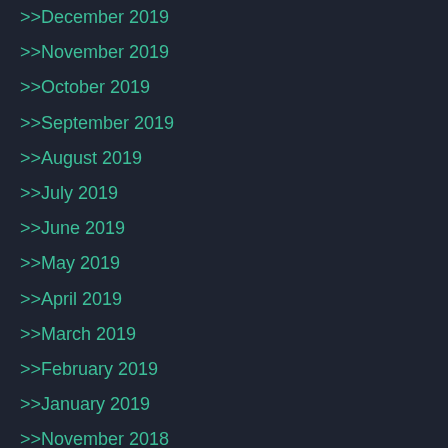>>December 2019
>>November 2019
>>October 2019
>>September 2019
>>August 2019
>>July 2019
>>June 2019
>>May 2019
>>April 2019
>>March 2019
>>February 2019
>>January 2019
>>November 2018
>>October 2018
>>September 2018